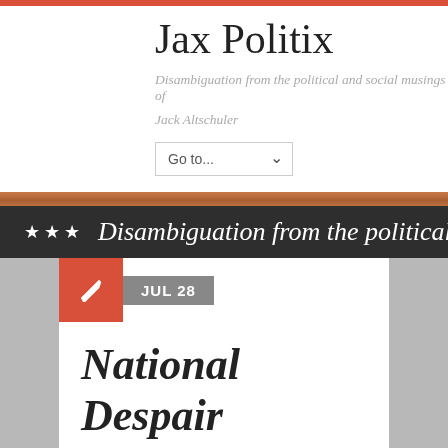Jax Politix
Disambiguation from the political and social musings of
Jack Altschuler
Go to...
★★★  Disambiguation from the political an
JUL 28
National Despair
[Figure (screenshot): Social share buttons: Facebook, Twitter, LinkedIn, Pinterest, Reddit, Mix, WhatsApp, Share]